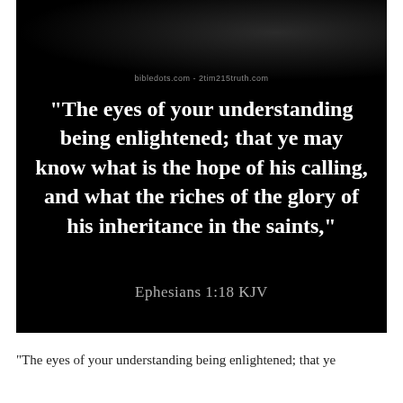[Figure (illustration): Dark background image with a faint shadowy figure at top, overlaid with a white bold Bible verse quote and reference text below. Website watermark reads 'bibledots.com - 2tim215truth.com']
bibledots.com - 2tim215truth.com
"The eyes of your understanding being enlightened; that ye may know what is the hope of his calling, and what the riches of the glory of his inheritance in the saints,"
Ephesians 1:18 KJV
"The eyes of your understanding being enlightened; that ye